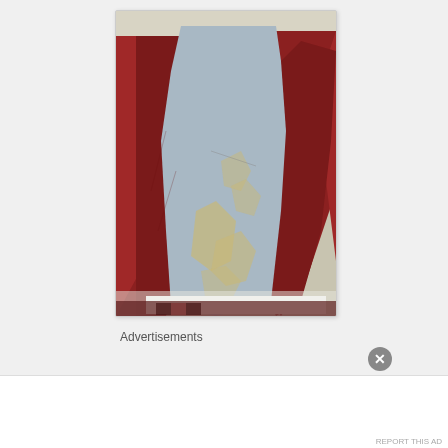[Figure (photo): A wall being stripped of old wallpaper, showing blue-gray painted drywall in the center with torn red/rust colored wallpaper remnants on the sides, and yellowish adhesive residue visible. White baseboard trim at bottom, fabric/cloth on floor.]
Advertisements
[Figure (other): Advertisement banner with light blue bar and close (X) button]
Advertisements
[Figure (other): Pocket Casts advertisement banner reading 'The go-to app for podcast lovers.' with Pocket Casts logo]